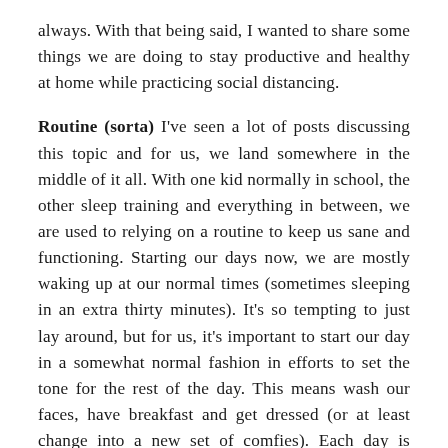always. With that being said, I wanted to share some things we are doing to stay productive and healthy at home while practicing social distancing.
Routine (sorta) I've seen a lot of posts discussing this topic and for us, we land somewhere in the middle of it all. With one kid normally in school, the other sleep training and everything in between, we are used to relying on a routine to keep us sane and functioning. Starting our days now, we are mostly waking up at our normal times (sometimes sleeping in an extra thirty minutes). It's so tempting to just lay around, but for us, it's important to start our day in a somewhat normal fashion in efforts to set the tone for the rest of the day. This means wash our faces, have breakfast and get dressed (or at least change into a new set of comfies). Each day is different for us so I like to make a to-do list in the